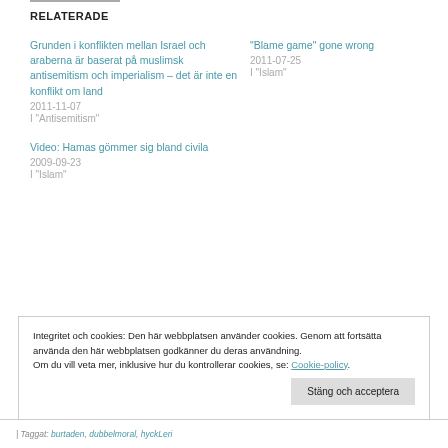RELATERADE
Grunden i konflikten mellan Israel och araberna är baserat på muslimsk antisemitism och imperialism – det är inte en konflikt om land
2011-11-07
I "Antisemitism"
"Blame game" gone wrong
2011-07-25
I "Islam"
Video: Hamas gömmer sig bland civila
2009-09-23
I "Islam"
Integritet och cookies: Den här webbplatsen använder cookies. Genom att fortsätta använda den här webbplatsen godkänner du deras användning.
Om du vill veta mer, inklusive hur du kontrollerar cookies, se: Cookie-policy
Taggat: burtaden, dubbelmoral, hyckLeri